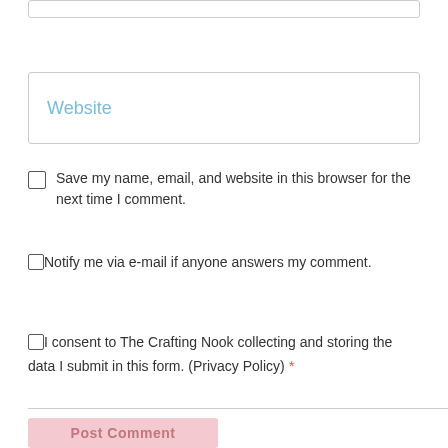Website
Save my name, email, and website in this browser for the next time I comment.
Notify me via e-mail if anyone answers my comment.
I consent to The Crafting Nook collecting and storing the data I submit in this form. (Privacy Policy) *
Post Comment